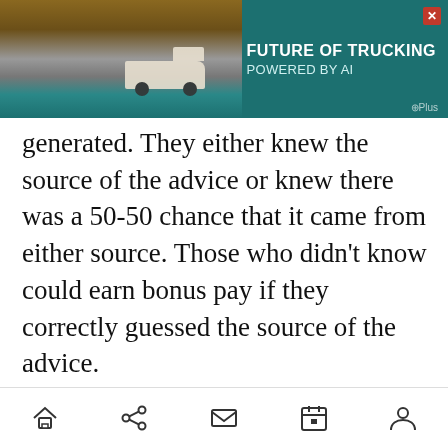[Figure (screenshot): Top advertisement banner for 'Future of Trucking Powered by AI' with a dark teal background showing a truck in a desert landscape, white bold text, and a G Plus logo badge.]
generated. They either knew the source of the advice or knew there was a 50-50 chance that it came from either source. Those who didn't know could earn bonus pay if they correctly guessed the source of the advice.
ADVERTISEMENT
[Figure (screenshot): Appen advertisement with teal gradient background. Shows appen logo, text 'THE RESULTS ARE IN! READ WHAT AI EXPERTS' and a 'State of AI 2022' report cover image on the right side.]
[Figure (screenshot): Mobile navigation bar with home, share, mail, calendar, and profile icons.]